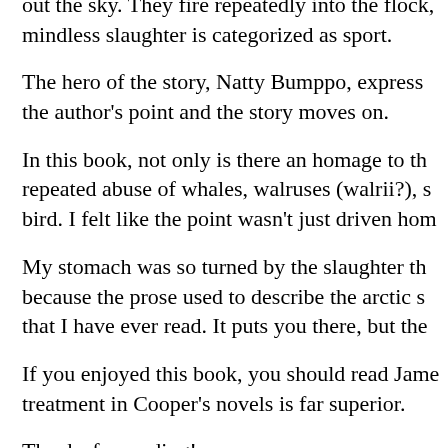out the sky. They fire repeatedly into the flock, mindless slaughter is categorized as sport.
The hero of the story, Natty Bumppo, express the author's point and the story moves on.
In this book, not only is there an homage to th repeated abuse of whales, walruses (walrii?), s bird. I felt like the point wasn't just driven hom
My stomach was so turned by the slaughter th because the prose used to describe the arctic s that I have ever read. It puts you there, but the
If you enjoyed this book, you should read Jame treatment in Cooper's novels is far superior.
Thanks for reading!
Advertisements Share this Librarian's Blog:
Twitter
Facebook